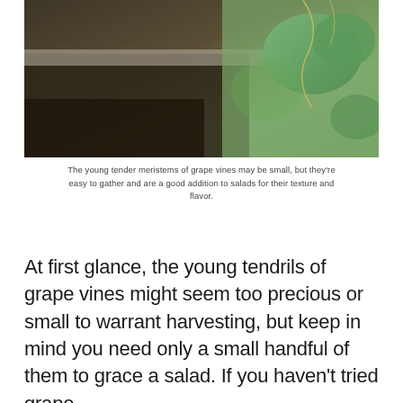[Figure (photo): Close-up photograph of young grape vine tendrils and leaves with a blurred background showing wooden structures and green foliage.]
The young tender meristems of grape vines may be small, but they're easy to gather and are a good addition to salads for their texture and flavor.
At first glance, the young tendrils of grape vines might seem too precious or small to warrant harvesting, but keep in mind you need only a small handful of them to grace a salad. If you haven't tried grape tendrils, et ices offering them on a ti…